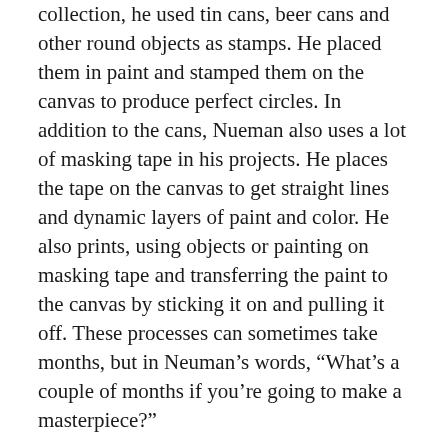collection, he used tin cans, beer cans and other round objects as stamps. He placed them in paint and stamped them on the canvas to produce perfect circles. In addition to the cans, Nueman also uses a lot of masking tape in his projects. He places the tape on the canvas to get straight lines and dynamic layers of paint and color. He also prints, using objects or painting on masking tape and transferring the paint to the canvas by sticking it on and pulling it off. These processes can sometimes take months, but in Neuman’s words, “What’s a couple of months if you’re going to make a masterpiece?”
Neuman’s daughter pointed out that many of his paintings in this collection are full of so many colors and layers that they become more dynamic. The layers seem to change color with certain light or certain moods. During the talk, two books were also passed around to demonstrate a few more of his works and a picture of him at work, showing just how many paintings he does at once. The presentation was concluded by giving the audience a chance to ask him any questions they had. Neuman made it very clear that although people may not understand abstract art or believe it is real art, it is real to him